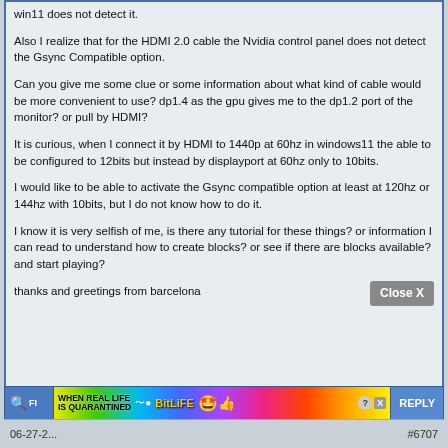win11 does not detect it.
Also I realize that for the HDMI 2.0 cable the Nvidia control panel does not detect the Gsync Compatible option.
Can you give me some clue or some information about what kind of cable would be more convenient to use? dp1.4 as the gpu gives me to the dp1.2 port of the monitor? or pull by HDMI?
It is curious, when I connect it by HDMI to 1440p at 60hz in windows11 the able to be configured to 12bits but instead by displayport at 60hz only to 10bits.
I would like to be able to activate the Gsync compatible option at least at 120hz or 144hz with 10bits, but I do not know how to do it.
I know it is very selfish of me, is there any tutorial for these things? or information I can read to understand how to create blocks? or see if there are blocks available? and start playing?
thanks and greetings from barcelona
[Figure (screenshot): Advertisement banner: BitLife 'When Real Life Is Quarantined' colorful ad with emoji and Close X button]
06-27-2... #6707